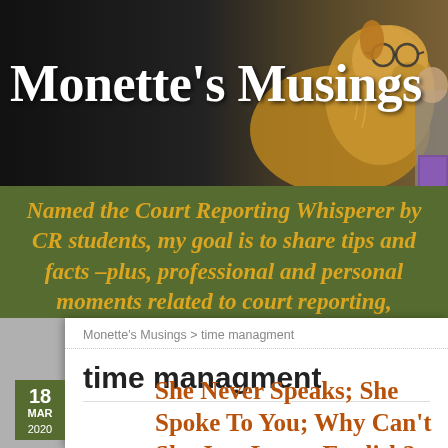[Figure (photo): Blog header banner: dark background with a collie/rough collie dog wearing glasses on the right side, person in background holding a purple book.]
Monette's Musings
Named the Court Reporting Whisperer by CR students, my goal is to share tips and facts –plus, professional and personal moments related to court reporting, CART/captioning, and
Monette's Musings > time managment
time managment
18 MAR 2020
She Never Speaks; She Spoke To You; Why Can't She Just Learn English?